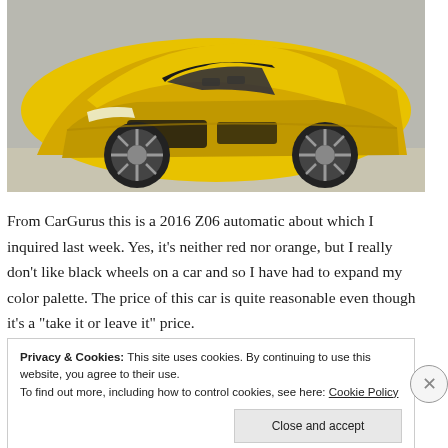[Figure (photo): A yellow 2016 Corvette Z06 sports car photographed from a front three-quarter angle, showing its aggressive front fascia, black multi-spoke wheels, and hood vents. The car is parked on a sunlit surface.]
From CarGurus this is a 2016 Z06 automatic about which I inquired last week. Yes, it’s neither red nor orange, but I really don’t like black wheels on a car and so I have had to expand my color palette. The price of this car is quite reasonable even though it’s a “take it or leave it” price.
Privacy & Cookies: This site uses cookies. By continuing to use this website, you agree to their use.
To find out more, including how to control cookies, see here: Cookie Policy
Close and accept